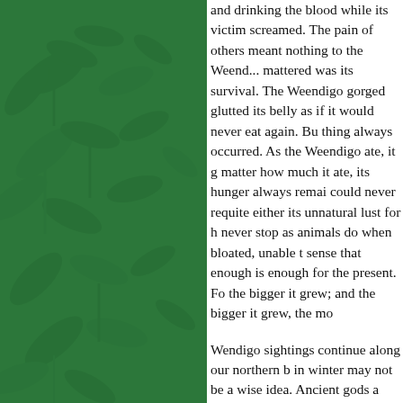[Figure (illustration): Green decorative sidebar with leaf/foliage pattern texture in darker green]
and drinking the blood while its victim screamed. The pain of others meant nothing to the Weendigo; all that mattered was its survival. The Weendigo gorged and glutted its belly as if it would never eat again. But a strange thing always occurred. As the Weendigo ate, it grew. No matter how much it ate, its hunger always remained. It could never requite either its unnatural lust for human flesh, never stop as animals do when bloated, unable to eat, to sense that enough is enough for the present. For the more it ate, the bigger it grew; and the bigger it grew, the mo...

Wendigo sightings continue along our northern b... in winter may not be a wise idea. Ancient gods a... doesn't mean they have ceased to exist—we are... Some native people believe that the spirit and t... the modern world as executives in state run corp... people who have an insatiable appetite to devo... consequence is to communities and human victir... song, "The Priests of the Golden Bull" asserts th... Greed, indifference, and ravenous consumption